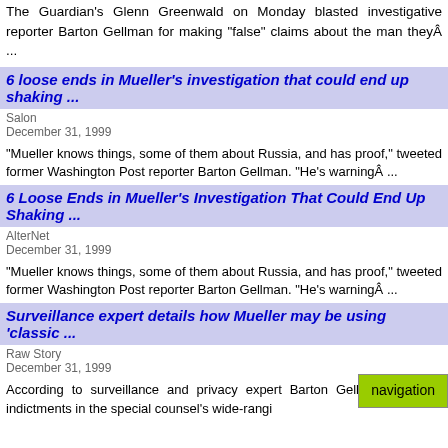The Guardian's Glenn Greenwald on Monday blasted investigative reporter Barton Gellman for making “false” claims about the man theyÀ ...
6 loose ends in Mueller's investigation that could end up shaking ...
Salon
December 31, 1999
“Mueller knows things, some of them about Russia, and has proof,” tweeted former Washington Post reporter Barton Gellman. “He’s warningÀ ...
6 Loose Ends in Mueller's Investigation That Could End Up Shaking ...
AlterNet
December 31, 1999
“Mueller knows things, some of them about Russia, and has proof,” tweeted former Washington Post reporter Barton Gellman. “He’s warningÀ ...
Surveillance expert details how Mueller may be using ‘classic ...
Raw Story
December 31, 1999
According to surveillance and privacy expert Barton Gellm profile first indictments in the special counsel's wide-rangi
navigation